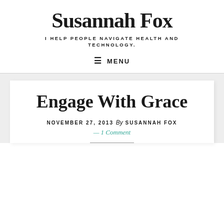Susannah Fox
I HELP PEOPLE NAVIGATE HEALTH AND TECHNOLOGY.
≡ MENU
Engage With Grace
NOVEMBER 27, 2013 By SUSANNAH FOX
— 1 Comment